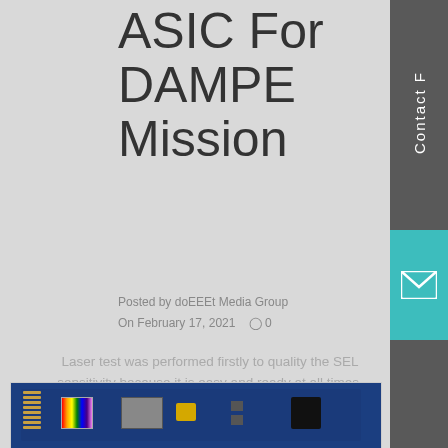ASIC For DAMPE Mission
Posted by doEEEt Media Group
On February 17, 2021    ○ 0
Laser test was performed firstly to quality the SEL sensitivity because it is easy and ready at all times. Heavy ion beam teat was executed secondly to quantify the SEL tolerance of the ASICs.
[Figure (photo): PCB circuit board with electronic components for DAMPE mission ASIC]